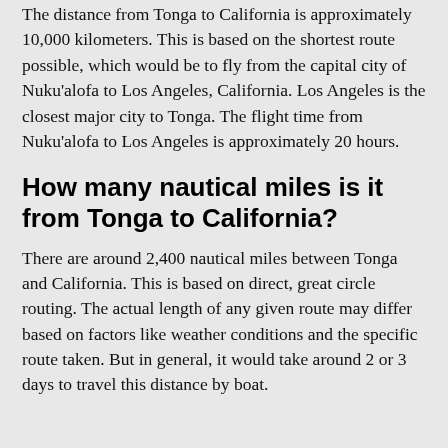The distance from Tonga to California is approximately 10,000 kilometers. This is based on the shortest route possible, which would be to fly from the capital city of Nuku'alofa to Los Angeles, California. Los Angeles is the closest major city to Tonga. The flight time from Nuku'alofa to Los Angeles is approximately 20 hours.
How many nautical miles is it from Tonga to California?
There are around 2,400 nautical miles between Tonga and California. This is based on direct, great circle routing. The actual length of any given route may differ based on factors like weather conditions and the specific route taken. But in general, it would take around 2 or 3 days to travel this distance by boat.